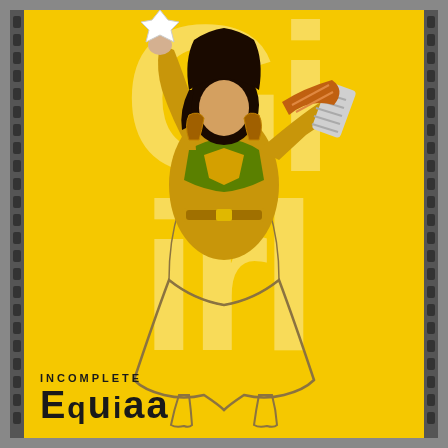[Figure (illustration): Comic-book style illustration of a female superhero in gold and yellow armor costume, one arm raised holding a fist up, other arm out with armored gauntlet, wearing a flowing yellow skirt. Behind the figure are large watermark-style letters on a bright yellow background. Film strip perforations border the left and right edges of the image.]
INCOMPLETE
EQUIAA